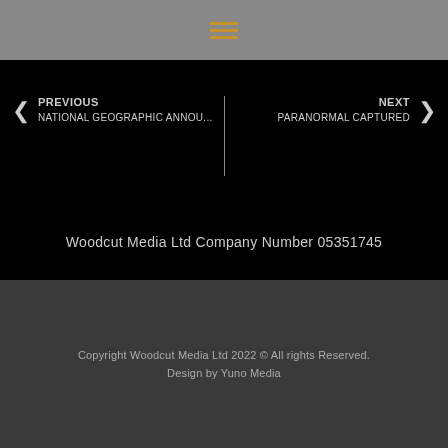[Figure (other): Hamburger menu icon with three horizontal golden/amber lines on a gray background]
PREVIOUS
NATIONAL GEOGRAPHIC ANNOU...
NEXT
Paranormal Captured
Woodcut Media Ltd Company Number 05351745
Copyright Woodcut Media Ltd 2022 © All rights Reserved.
Design by Yuno Media